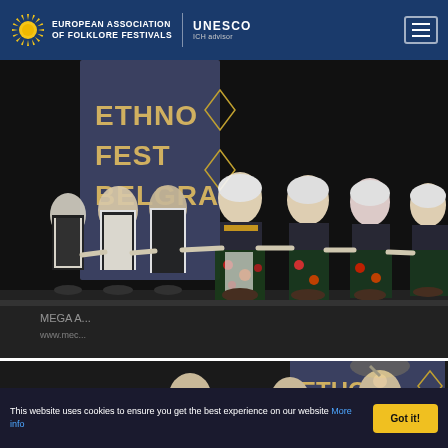European Association of Folklore Festivals | UNESCO ICH advisor
[Figure (photo): Performers in traditional Serbian folk costumes standing in a line on a dark stage at Ethno Fest Belgrade. Banner visible in background reading ETHNO FEST BELGRADE. Women wear colorful embroidered dresses with floral motifs and white headscarves; men wear black vests with white shirts. Partial text visible: MEGA A... www.mec...]
[Figure (photo): Partial view of a second photo showing people at the Ethno Fest event, with a banner visible reading ETHO (partial), dark background.]
This website uses cookies to ensure you get the best experience on our website More info  Got it!